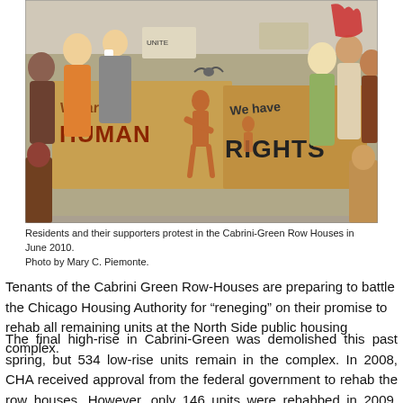[Figure (photo): Protest photo showing residents and supporters holding cardboard signs reading 'We are HUMAN' and 'We have RIGHTS' at the Cabrini-Green Row Houses in June 2010. A crowd of people is visible in the background on a city street.]
Residents and their supporters protest in the Cabrini-Green Row Houses in June 2010. Photo by Mary C. Piemonte.
Tenants of the Cabrini Green Row-Houses are preparing to battle the Chicago Housing Authority for “reneging” on their promise to rehab all remaining units at the North Side public housing complex.
The final high-rise in Cabrini-Green was demolished this past spring, but 534 low-rise units remain in the complex. In 2008, CHA received approval from the federal government to rehab the row houses. However, only 146 units were rehabbed in 2009, leaving 438 units in disrepair, with a great majority left vacant. Only 33 of those are